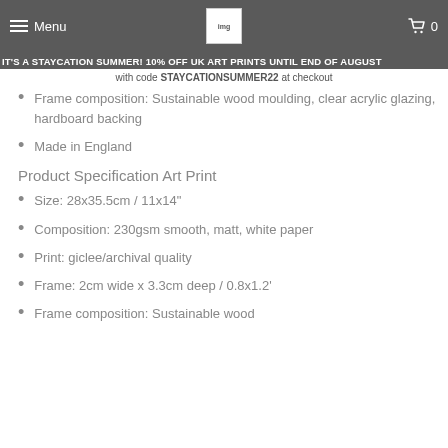Menu | [logo] | 0
IT'S A STAYCATION SUMMER! 10% OFF UK ART PRINTS UNTIL END OF AUGUST
with code STAYCATIONSUMMER22 at checkout
Frame composition: Sustainable wood moulding, clear acrylic glazing, hardboard backing
Made in England
Product Specification Art Print
Size: 28x35.5cm / 11x14"
Composition: 230gsm smooth, matt, white paper
Print: giclee/archival quality
Frame: 2cm wide x 3.3cm deep / 0.8x1.2'
Frame composition: Sustainable wood